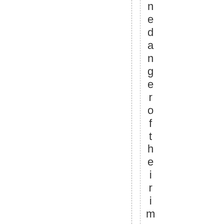endangerment of their impact on biological